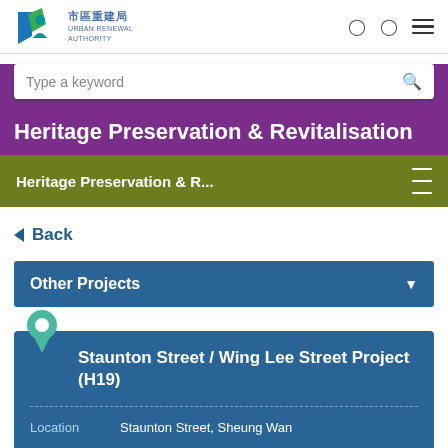Urban Renewal Authority 市區重建局
Type a keyword
Heritage Preservation & Revitalisation
Heritage Preservation & R...
Back
Other Projects
Staunton Street / Wing Lee Street Project (H19)
| Field | Value |
| --- | --- |
| Location | Staunton Street, Sheung Wan |
| Area | 1,285 square metres (area excluding the existing streets and lanes within the site) |